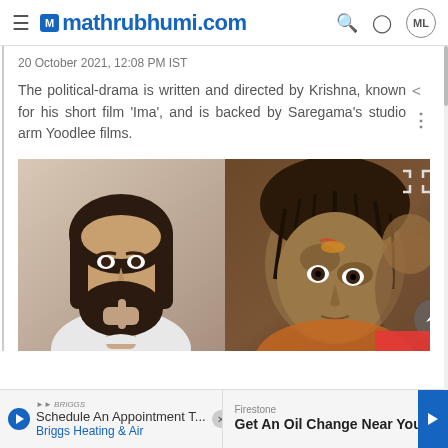mathrubhumi.com
20 October 2021, 12:08 PM IST
The political-drama is written and directed by Krishna, known for his short film 'Ima', and is backed by Saregama's studio arm Yoodlee films.
[Figure (photo): Two film promotional photos side by side: left shows a bearded man in a white shirt, right shows a man with dirt and wounds makeup]
Schedule An Appointment T... Briggs Heating & Air
Firestone
Get An Oil Change Near You